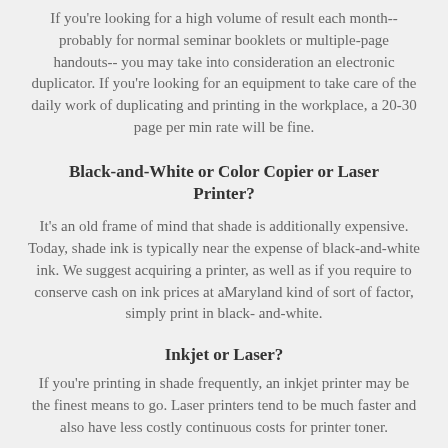If you're looking for a high volume of result each month-- probably for normal seminar booklets or multiple-page handouts-- you may take into consideration an electronic duplicator. If you're looking for an equipment to take care of the daily work of duplicating and printing in the workplace, a 20-30 page per min rate will be fine.
Black-and-White or Color Copier or Laser Printer?
It's an old frame of mind that shade is additionally expensive. Today, shade ink is typically near the expense of black-and-white ink. We suggest acquiring a printer, as well as if you require to conserve cash on ink prices at aMaryland kind of sort of factor, simply print in black-and-white.
Inkjet or Laser?
If you're printing in shade frequently, an inkjet printer may be the finest means to go. Laser printers tend to be much faster and also have less costly continuous costs for printer toner.